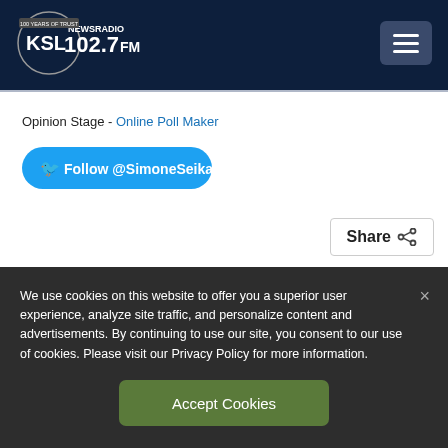[Figure (logo): KSL NewsRadio 102.7FM logo with '100 Years of Trust' text in a circular badge, white text on dark navy background]
[Figure (other): Hamburger menu button (three horizontal lines) on dark blue square background]
Opinion Stage - Online Poll Maker
[Figure (other): Twitter follow button: Follow @SimoneSeikaly, blue rounded rectangle with Twitter bird icon]
[Figure (other): Share button with share icon, white background with border]
We use cookies on this website to offer you a superior user experience, analyze site traffic, and personalize content and advertisements. By continuing to use our site, you consent to our use of cookies. Please visit our Privacy Policy for more information.
[Figure (other): Accept Cookies button, green rounded rectangle]